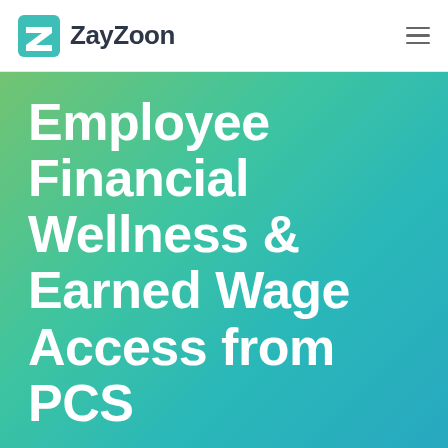[Figure (logo): ZayZoon logo with teal Z icon and dark text]
Employee Financial Wellness & Earned Wage Access from PCS